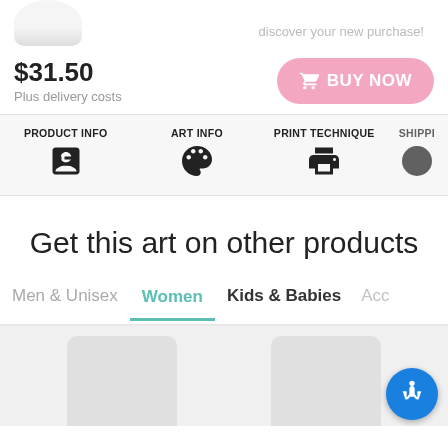discover your new purchase!
$31.50
Plus delivery costs
BUY NOW
PRODUCT INFO
ART INFO
PRINT TECHNIQUE
SHIPPI
Get this art on other products
Men & Unisex
Women
Kids & Babies
Acc